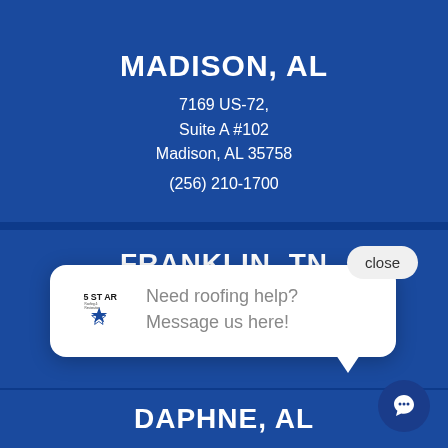MADISON, AL
7169 US-72,
Suite A #102
Madison, AL 35758
(256) 210-1700
FRANKLIN, TN
[Figure (other): Chat popup widget with 5 Star Roofing logo and message: Need roofing help? Message us here!]
close
DAPHNE, AL